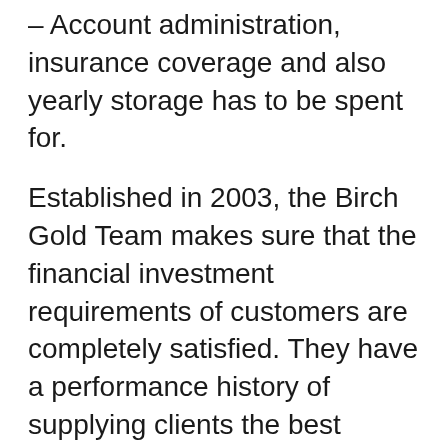– Account administration, insurance coverage and also yearly storage has to be spent for.
Established in 2003, the Birch Gold Team makes sure that the financial investment requirements of customers are completely satisfied. They have a performance history of supplying clients the best combination of platinum, gold, silver and also palladium to diversify their investment portfolios as well as safeguard their wealth. The consumer support group at Birch Gold is extremely educated, with a specialist expertise of the products on offer. All clients are led though every phase of the process.
If you want to convert your current pension